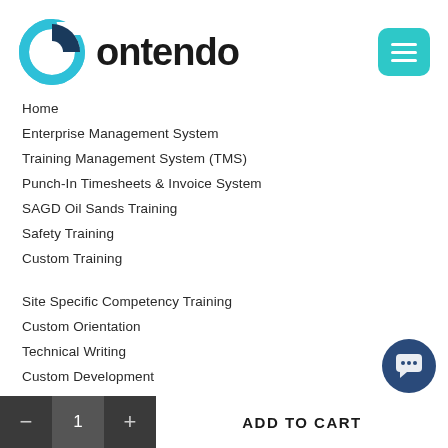[Figure (logo): Contendo logo with circular blue icon and bold black text]
Home
Enterprise Management System
Training Management System (TMS)
Punch-In Timesheets & Invoice System
SAGD Oil Sands Training
Safety Training
Custom Training
Site Specific Competency Training
Custom Orientation
Technical Writing
Custom Development
About
Contact
Blog
- 1 + ADD TO CART